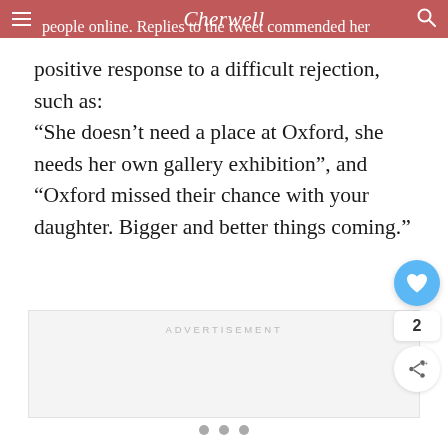Cherwell
people online. Replies to the tweet commended her positive response to a difficult rejection, such as: “She doesn’t need a place at Oxford, she needs her own gallery exhibition”, and “Oxford missed their chance with your daughter. Bigger and better things coming.”
[Figure (other): Advertisement placeholder box with label ADVERTISEMENT]